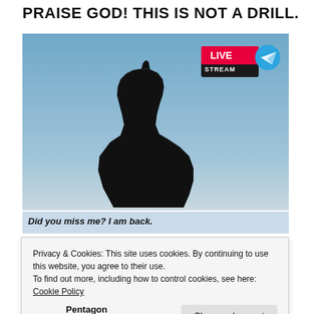PRAISE GOD! THIS IS NOT A DRILL.
[Figure (photo): Silhouette of a person against a blue sky background, with a LIVE STREAM badge overlay in the top right corner featuring a Telegram logo icon.]
Did you miss me? I am back.
Privacy & Cookies: This site uses cookies. By continuing to use this website, you agree to their use.
To find out more, including how to control cookies, see here: Cookie Policy
Close and accept
Pentagon